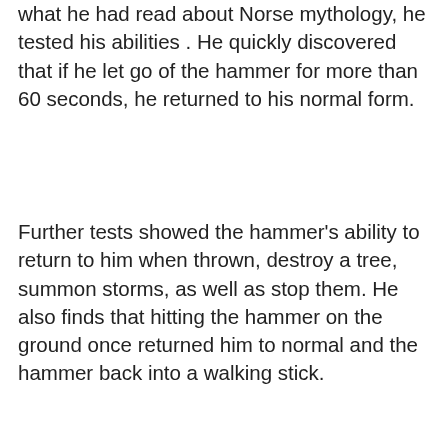what he had read about Norse mythology, he tested his abilities . He quickly discovered that if he let go of the hammer for more than 60 seconds, he returned to his normal form.
Further tests showed the hammer's ability to return to him when thrown, destroy a tree, summon storms, as well as stop them. He also finds that hitting the hammer on the ground once returned him to normal and the hammer back into a walking stick.
Meanwhile, the remainder of the stone men attack fleet entered the atmosphere and were picked up by military radar. The stone men's ships were protected so that the missiles couldn't harm them. Seeing this, Dr. Blake transformed back into Thor and hurled himself with his hammer into the middle of the collision course meaning to stop them.